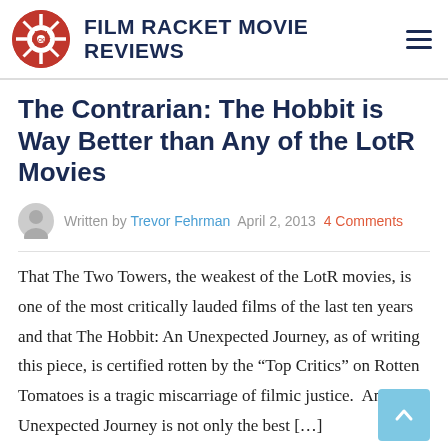Film Racket Movie Reviews
The Contrarian: The Hobbit is Way Better than Any of the LotR Movies
Written by Trevor Fehrman  April 2, 2013  4 Comments
That The Two Towers, the weakest of the LotR movies, is one of the most critically lauded films of the last ten years and that The Hobbit: An Unexpected Journey, as of writing this piece, is certified rotten by the “Top Critics” on Rotten Tomatoes is a tragic miscarriage of filmic justice.  An Unexpected Journey is not only the best […]
Read More